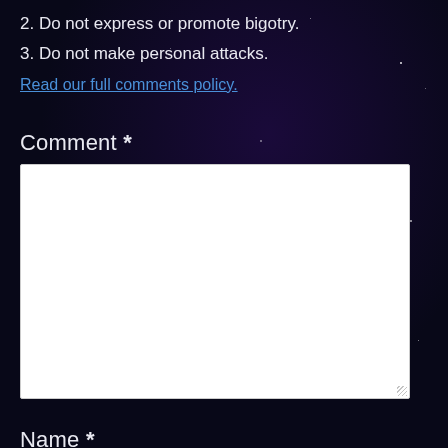2. Do not express or promote bigotry.
3. Do not make personal attacks.
Read our full comments policy.
Comment *
Name *
Email * (will not be made public)